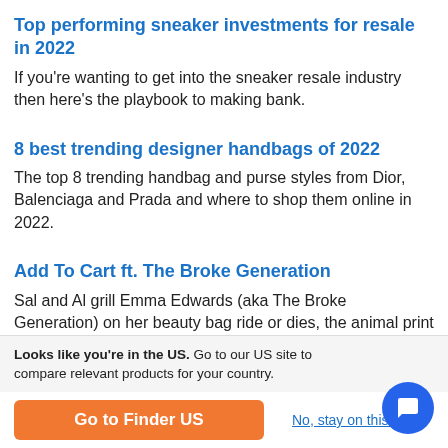Top performing sneaker investments for resale in 2022
If you're wanting to get into the sneaker resale industry then here's the playbook to making bank.
8 best trending designer handbags of 2022
The top 8 trending handbag and purse styles from Dior, Balenciaga and Prada and where to shop them online in 2022.
Add To Cart ft. The Broke Generation
Sal and Al grill Emma Edwards (aka The Broke Generation) on her beauty bag ride or dies, the animal print number she'll never throw out and her top tier shopping hacks.
Looks like you're in the US. Go to our US site to compare relevant products for your country.
Go to Finder US
No, stay on this page